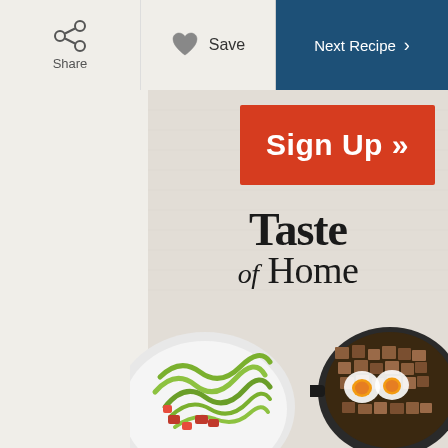Share | Save | Next Recipe
[Figure (screenshot): Taste of Home magazine subscription advertisement showing a Sign Up button in red, the Taste of Home logo in serif font, and food photography including zucchini noodles with tomatoes on a white plate and a cast iron skillet with eggs and potatoes hash]
Sign Up »
[Figure (logo): Taste of Home magazine logo in elegant serif typography]